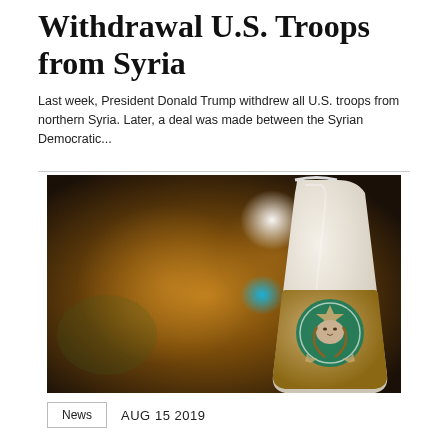Withdrawal U.S. Troops from Syria
Last week, President Donald Trump withdrew all U.S. troops from northern Syria. Later, a deal was made between the Syrian Democratic...
[Figure (photo): A blurred bokeh background with warm amber and teal lights, with a Starbucks coffee cup in the right foreground showing the Siren logo on a brown sleeve.]
News   AUG 15 2019